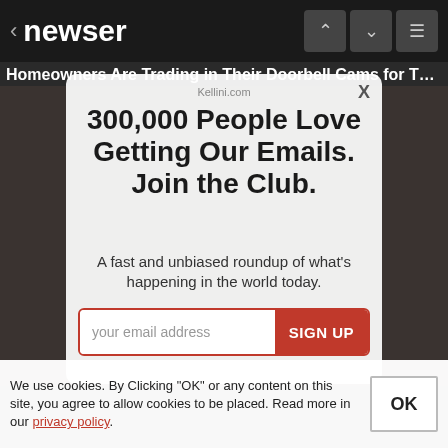newser
Homeowners Are Trading in Their Doorbell Cams for This.
[Figure (screenshot): Dark background photo area behind email signup modal]
Kellini.com
300,000 People Love Getting Our Emails. Join the Club.
A fast and unbiased roundup of what's happening in the world today.
your email address   SIGN UP
We use cookies. By Clicking "OK" or any content on this site, you agree to allow cookies to be placed. Read more in our privacy policy.